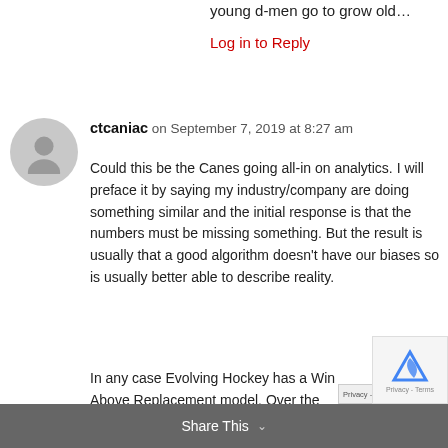young d-men go to grow old…
Log in to Reply
ctcaniac on September 7, 2019 at 8:27 am
Could this be the Canes going all-in on analytics. I will preface it by saying my industry/company are doing something similar and the initial response is that the numbers must be missing something. But the result is usually that a good algorithm doesn't have our biases so is usually better able to describe reality.
In any case Evolving Hockey has a Wins Above Replacement model. Over the past…
Share This